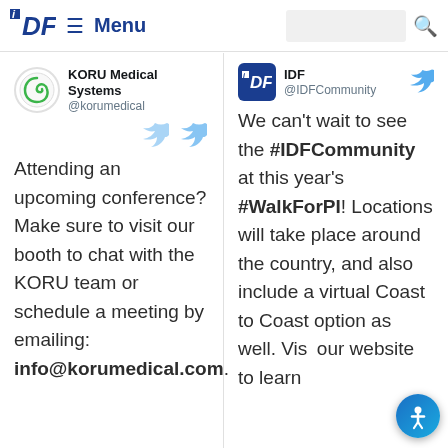IDF ≡ Menu [search bar] [search icon]
KORU Medical Systems @korumedical
Attending an upcoming conference? Make sure to visit our booth to chat with the KORU team or schedule a meeting by emailing: info@korumedical.com.
IDF @IDFCommunity
We can't wait to see the #IDFCommunity at this year's #WalkForPI! Locations will take place around the country, and also include a virtual Coast to Coast option as well. Visit our website to learn